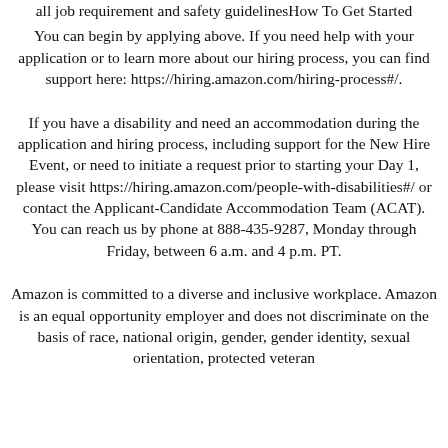all job requirement and safety guidelinesHow To Get Started
You can begin by applying above. If you need help with your application or to learn more about our hiring process, you can find support here: https://hiring.amazon.com/hiring-process#/.
If you have a disability and need an accommodation during the application and hiring process, including support for the New Hire Event, or need to initiate a request prior to starting your Day 1, please visit https://hiring.amazon.com/people-with-disabilities#/ or contact the Applicant-Candidate Accommodation Team (ACAT). You can reach us by phone at 888-435-9287, Monday through Friday, between 6 a.m. and 4 p.m. PT.
Amazon is committed to a diverse and inclusive workplace. Amazon is an equal opportunity employer and does not discriminate on the basis of race, national origin, gender, gender identity, sexual orientation, protected veteran